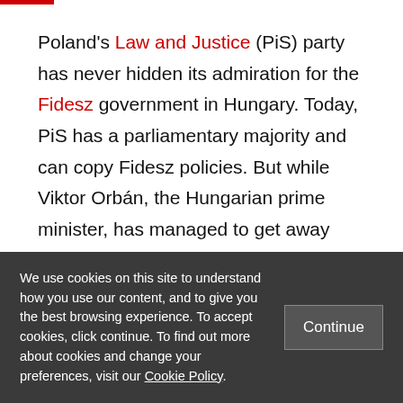Poland's Law and Justice (PiS) party has never hidden its admiration for the Fidesz government in Hungary. Today, PiS has a parliamentary majority and can copy Fidesz policies. But while Viktor Orbán, the Hungarian prime minister, has managed to get away with most of his reforms – perceived by many as 'illiberal' – Polish authorities may be less lucky. On 13 January
We use cookies on this site to understand how you use our content, and to give you the best browsing experience. To accept cookies, click continue. To find out more about cookies and change your preferences, visit our Cookie Policy.